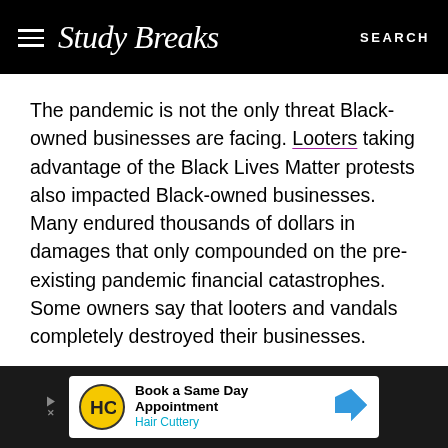Study Breaks — SEARCH
The pandemic is not the only threat Black-owned businesses are facing. Looters taking advantage of the Black Lives Matter protests also impacted Black-owned businesses. Many endured thousands of dollars in damages that only compounded on the pre-existing pandemic financial catastrophes. Some owners say that looters and vandals completely destroyed their businesses.
[Figure (other): Advertisement banner for Hair Cuttery: 'Book a Same Day Appointment' with HC logo and blue arrow icon]